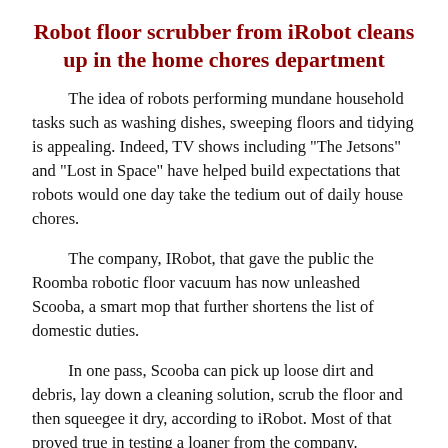Robot floor scrubber from iRobot cleans up in the home chores department
The idea of robots performing mundane household tasks such as washing dishes, sweeping floors and tidying is appealing. Indeed, TV shows including "The Jetsons" and "Lost in Space" have helped build expectations that robots would one day take the tedium out of daily house chores. The company, IRobot, that gave the public the Roomba robotic floor vacuum has now unleashed Scooba, a smart mop that further shortens the list of domestic duties. In one pass, Scooba can pick up loose dirt and debris, lay down a cleaning solution, scrub the floor and then squeegee it dry, according to iRobot. Most of that proved true in testing a loaner from the company.